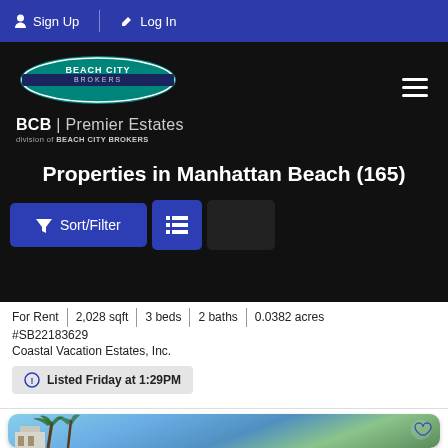Sign Up | Log In
[Figure (logo): Beach City Brokers logo with BCB Premier Estates text]
Properties in Manhattan Beach (165)
[Figure (other): Sort/Filter button and list view toggle button]
For Rent | 2,028 sqft | 3 beds | 2 baths | 0.0382 acres
#SB22183629
Coastal Vacation Estates, Inc.
Listed Friday at 1:29PM
[Figure (photo): Exterior photo of a property in Manhattan Beach showing palm trees and blue sky]